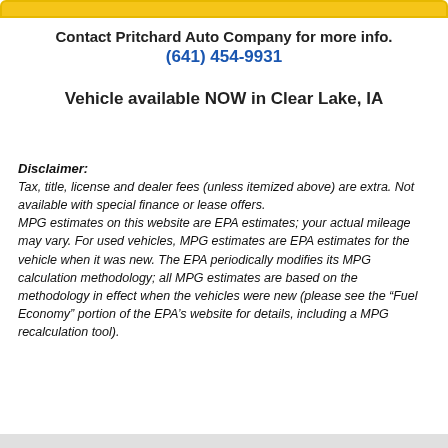Contact Pritchard Auto Company for more info.
(641) 454-9931
Vehicle available NOW in Clear Lake, IA
Disclaimer:
Tax, title, license and dealer fees (unless itemized above) are extra. Not available with special finance or lease offers.
MPG estimates on this website are EPA estimates; your actual mileage may vary. For used vehicles, MPG estimates are EPA estimates for the vehicle when it was new. The EPA periodically modifies its MPG calculation methodology; all MPG estimates are based on the methodology in effect when the vehicles were new (please see the “Fuel Economy” portion of the EPA’s website for details, including a MPG recalculation tool).